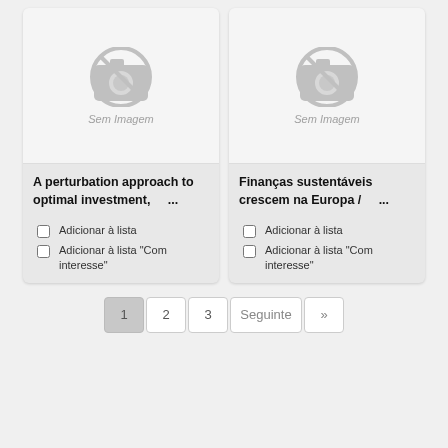[Figure (illustration): Card with no image placeholder — camera icon with line through it, text 'Sem Imagem']
A perturbation approach to optimal investment, ...
Adicionar à lista
Adicionar à lista "Com interesse"
[Figure (illustration): Card with no image placeholder — camera icon with line through it, text 'Sem Imagem']
Finanças sustentáveis crescem na Europa / ...
Adicionar à lista
Adicionar à lista "Com interesse"